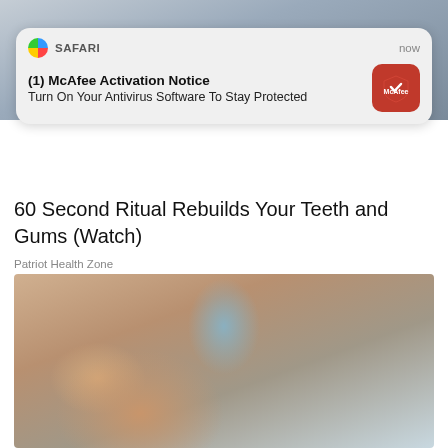[Figure (screenshot): Top partial photo background, blurred/cropped person image]
[Figure (screenshot): Mobile Safari browser notification popup: '(1) McAfee Activation Notice — Turn On Your Antivirus Software To Stay Protected' with McAfee red icon, showing 'now' timestamp]
60 Second Ritual Rebuilds Your Teeth and Gums (Watch)
Patriot Health Zone
[Figure (photo): Photo of a young person with curly hair tilting their head, with a small clear liquid bottle being held near their ear]